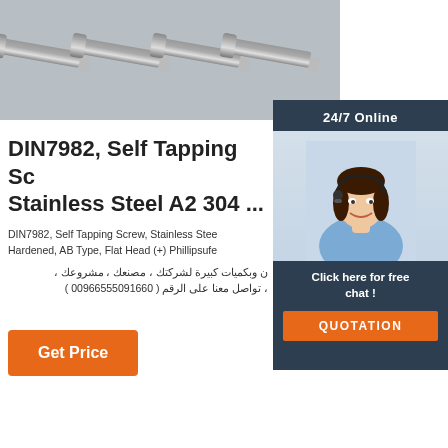[Figure (photo): Close-up photo of multiple stainless steel self-tapping screws on a gray surface]
[Figure (photo): Customer service agent woman with headset smiling, with 24/7 Online badge and chat/quotation call to action]
DIN7982, Self Tapping Sc Stainless Steel A2 304 ...
DIN7982, Self Tapping Screw, Stainless Stee Hardened, AB Type, Flat Head (+) Phillipsuf
ن وبكميات كبيرة لشركتك ، مصنعك ، مشروعك ، ، تواصل معنا على الرقم ( 00966555091660 )
Get Price